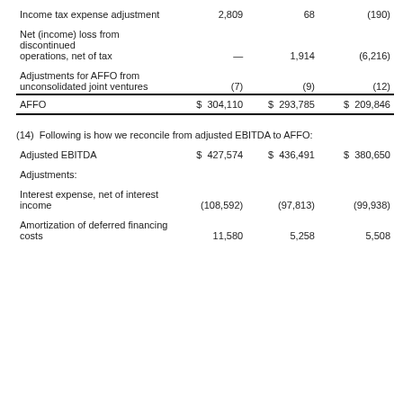|  | Col1 | Col2 | Col3 |
| --- | --- | --- | --- |
| Income tax expense adjustment | 2,809 | 68 | (190) |
| Net (income) loss from discontinued operations, net of tax | — | 1,914 | (6,216) |
| Adjustments for AFFO from unconsolidated joint ventures | (7) | (9) | (12) |
| AFFO | $ 304,110 | $ 293,785 | $ 209,846 |
(14) Following is how we reconcile from adjusted EBITDA to AFFO:
|  | Col1 | Col2 | Col3 |
| --- | --- | --- | --- |
| Adjusted EBITDA | $ 427,574 | $ 436,491 | $ 380,650 |
| Adjustments: |  |  |  |
| Interest expense, net of interest income | (108,592) | (97,813) | (99,938) |
| Amortization of deferred financing costs | 11,580 | 5,258 | 5,508 |